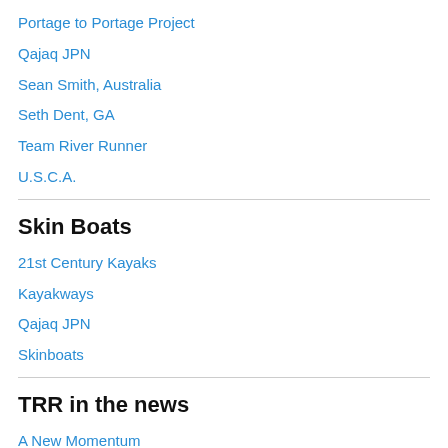Portage to Portage Project
Qajaq JPN
Sean Smith, Australia
Seth Dent, GA
Team River Runner
U.S.C.A.
Skin Boats
21st Century Kayaks
Kayakways
Qajaq JPN
Skinboats
TRR in the news
A New Momentum
Healing Waters